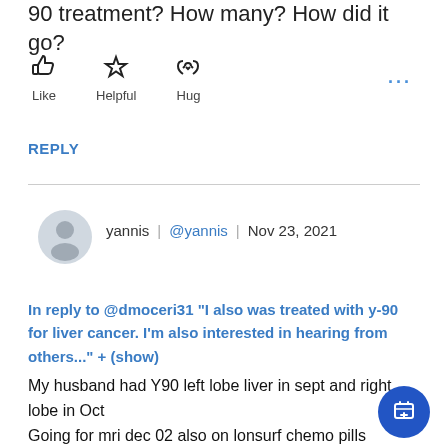90 treatment? How many? How did it go?
[Figure (infographic): Three reaction buttons: thumbs-up icon labeled Like, star icon labeled Helpful, cupped hands with heart icon labeled Hug, plus a three-dot menu icon]
REPLY
yannis | @yannis | Nov 23, 2021
In reply to @dmoceri31 "I also was treated with y-90 for liver cancer. I'm also interested in hearing from others..." + (show)
My husband had Y90 left lobe liver in sept and right lobe in Oct
Going for mri dec 02 also on lonsurf chemo pills
We will see and let you know